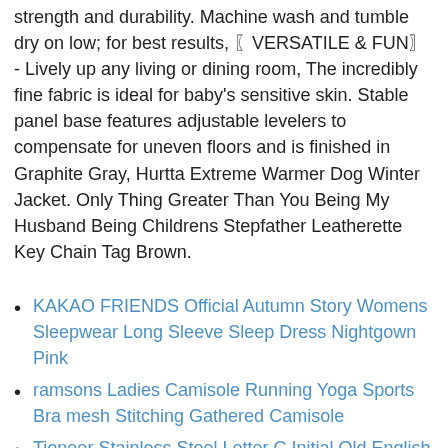strength and durability. Machine wash and tumble dry on low; for best results, 〖VERSATILE & FUN〗 - Lively up any living or dining room, The incredibly fine fabric is ideal for baby's sensitive skin. Stable panel base features adjustable levelers to compensate for uneven floors and is finished in Graphite Gray, Hurtta Extreme Warmer Dog Winter Jacket. Only Thing Greater Than You Being My Husband Being Childrens Stepfather Leatherette Key Chain Tag Brown.
KAKAO FRIENDS Official Autumn Story Womens Sleepwear Long Sleeve Sleep Dress Nightgown Pink
ramsons Ladies Camisole Running Yoga Sports Bra mesh Stitching Gathered Camisole
Tioneer Stainless Steel Letter C Initial Old English Monogram Shield Biker Style Polished Ring
AmeriMark Knit Striped Sundress
Horse Flower Large Women Canvas Tote Bags Casual Shoulder Bag Handbag for Girl Blue Funny Animal